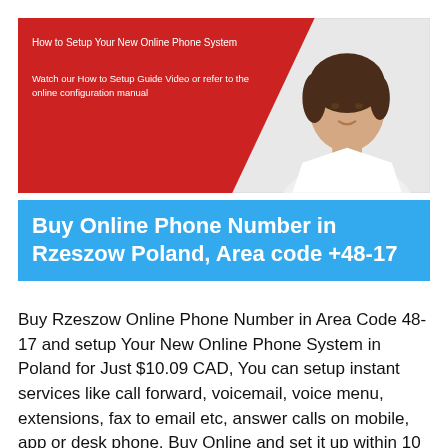[Figure (infographic): Red banner with woman photo on right. Title: 'How to Setup Your New Online Phone System'. Subtitle: 'Watch our How to Setup Guide Video or refer to the online configuration manual']
Buy Online Phone Number in Rzeszow Poland, Area code +48-17
Buy Rzeszow Online Phone Number in Area Code 48-17 and setup Your New Online Phone System in Poland for Just $10.09 CAD, You can setup instant services like call forward, voicemail, voice menu, extensions, fax to email etc, answer calls on mobile, app or desk phone, Buy Online and set it up within 10 minutes.